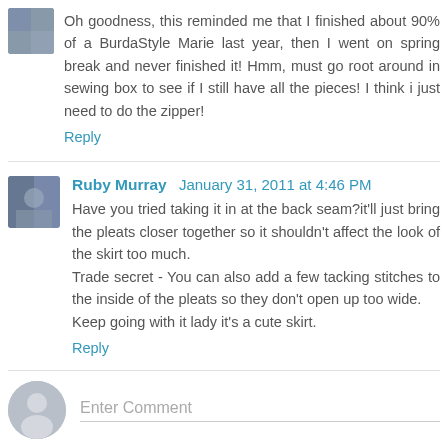Oh goodness, this reminded me that I finished about 90% of a BurdaStyle Marie last year, then I went on spring break and never finished it! Hmm, must go root around in sewing box to see if I still have all the pieces! I think i just need to do the zipper!
Reply
Ruby Murray  January 31, 2011 at 4:46 PM
Have you tried taking it in at the back seam?it'll just bring the pleats closer together so it shouldn't affect the look of the skirt too much.
Trade secret - You can also add a few tacking stitches to the inside of the pleats so they don't open up too wide.
Keep going with it lady it's a cute skirt.
Reply
Enter Comment